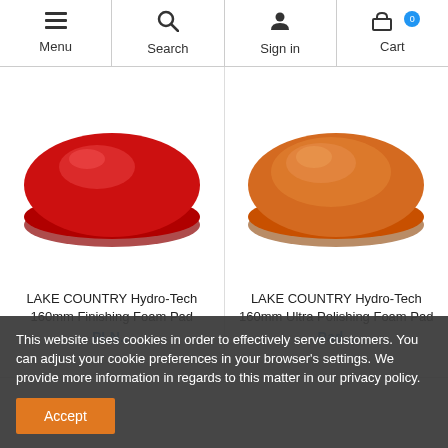Menu | Search | Sign in | Cart
[Figure (photo): Red foam polishing pad - LAKE COUNTRY Hydro-Tech 160mm Finishing Foam Pad]
LAKE COUNTRY Hydro-Tech 160mm Finishing Foam Pad
[Figure (photo): Orange foam polishing pad - LAKE COUNTRY Hydro-Tech 160mm Ultra Polishing Foam Pad]
LAKE COUNTRY Hydro-Tech 160mm Ultra Polishing Foam Pad
This website uses cookies in order to effectively serve customers. You can adjust your cookie preferences in your browser's settings. We provide more information in regards to this matter in our privacy policy.